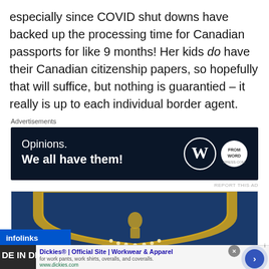especially since COVID shut downs have backed up the processing time for Canadian passports for like 9 months! Her kids do have their Canadian citizenship papers, so hopefully that will suffice, but nothing is guarantied – it really is up to each individual border agent.
Advertisements
[Figure (screenshot): WordPress.com advertisement: 'Opinions. We all have them!' with WordPress and WordPress.com logos on dark navy background]
REPORT THIS AD
[Figure (photo): Partial image showing what appears to be a coat of arms or military emblem with gold and blue coloring]
[Figure (screenshot): infolinks advertisement bar and Dickies bottom ad banner showing 'Dickies® | Official Site | Workwear & Apparel - for work pants, work shirts, overalls, and coveralls. www.dickies.com']